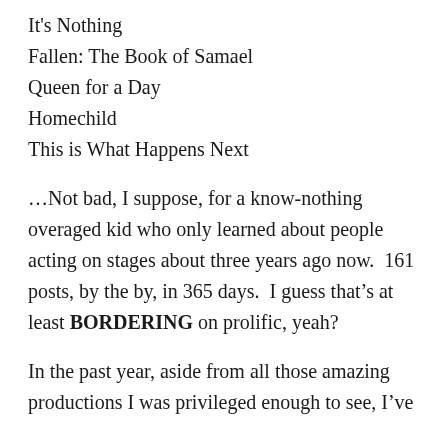It's Nothing
Fallen: The Book of Samael
Queen for a Day
Homechild
This is What Happens Next
...Not bad, I suppose, for a know-nothing overaged kid who only learned about people acting on stages about three years ago now.  161 posts, by the by, in 365 days.  I guess that's at least BORDERING on prolific, yeah?
In the past year, aside from all those amazing productions I was privileged enough to see, I've